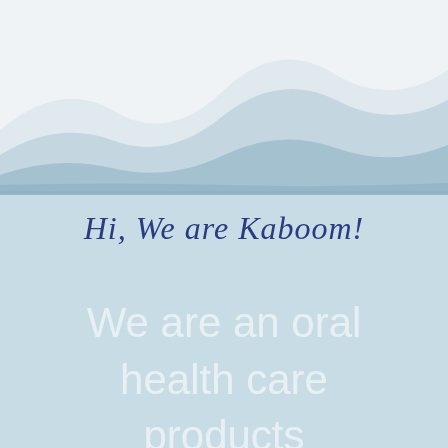[Figure (illustration): Decorative wave graphic with light blue layered wave shapes on a white/light grey background, creating a mountainous wave effect]
Hi, We are Kaboom!
We are an oral health care products company, dedicated to